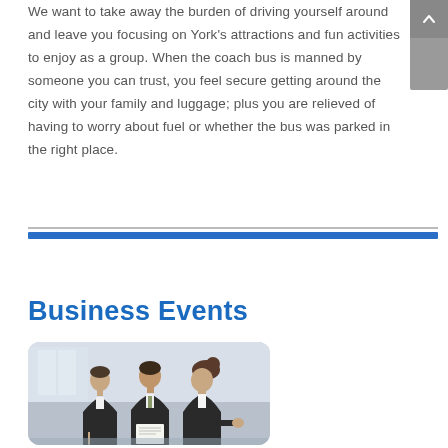We want to take away the burden of driving yourself around and leave you focusing on York's attractions and fun activities to enjoy as a group. When the coach bus is manned by someone you can trust, you feel secure getting around the city with your family and luggage; plus you are relieved of having to worry about fuel or whether the bus was parked in the right place.
Business Events
[Figure (photo): Three business professionals (two men and one woman) sitting together looking at documents, dressed in formal business attire, in an office setting.]